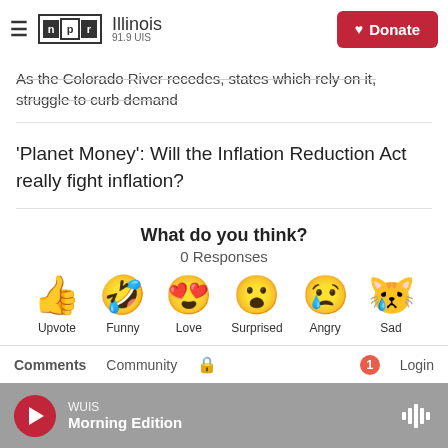NPR Illinois 91.9 UIS — Donate
As the Colorado River recedes, states which rely on it, struggle to curb demand
'Planet Money': Will the Inflation Reduction Act really fight inflation?
What do you think?
0 Responses
[Figure (infographic): Six emoji reaction buttons: Upvote (thumbs up), Funny (laughing face), Love (heart eyes), Surprised (surprised face), Angry (crying/angry face), Sad (sad face with tear)]
Comments   Community   [lock icon]   [1]   Login
WUIS  Morning Edition  [play button]  [waveform icon]